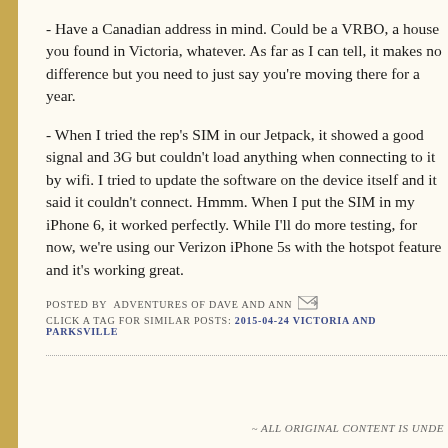- Have a Canadian address in mind. Could be a VRBO, a house you found in Victoria, whatever. As far as I can tell, it makes no difference but you need to just say you're moving there for a year.
- When I tried the rep's SIM in our Jetpack, it showed a good signal and 3G but couldn't load anything when connecting to it by wifi. I tried to update the software on the device itself and it said it couldn't connect. Hmmm. When I put the SIM in my iPhone 6, it worked perfectly. While I'll do more testing, for now, we're using our Verizon iPhone 5s with the hotspot feature and it's working great.
POSTED BY ADVENTURES OF DAVE AND ANN
CLICK A TAG FOR SIMILAR POSTS: 2015-04-24 VICTORIA AND PARKSVILLE
~ ALL ORIGINAL CONTENT IS UNDE